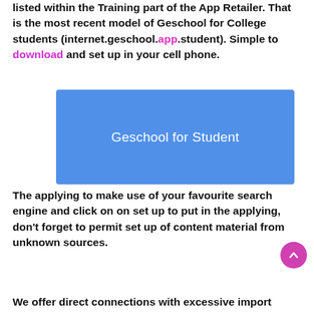listed within the Training part of the App Retailer. That is the most recent model of Geschool for College students (internet.geschool.app.student). Simple to download and set up in your cell phone.
[Figure (illustration): Blue rectangle banner with white text reading 'Geschool for Student']
The applying to make use of your favourite search engine and click on on set up to put in the applying, don't forget to permit set up of content material from unknown sources.
We offer direct connections with excessive import pace.